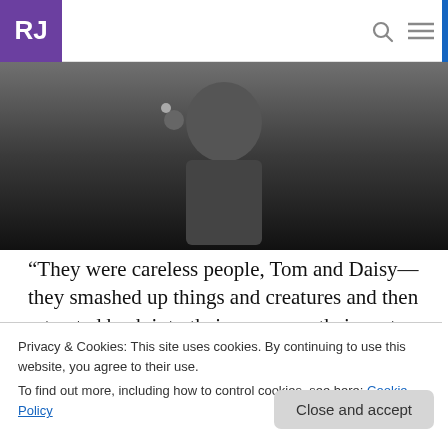RJ
[Figure (photo): Black and white photograph of a person holding a flower, dressed in dark formal clothing, partially visible.]
“They were careless people, Tom and Daisy—they smashed up things and creatures and then retreated back into their money or their vast carelessness, or whatever it was that
Privacy & Cookies: This site uses cookies. By continuing to use this website, you agree to their use.
To find out more, including how to control cookies, see here: Cookie Policy
Gatsby for his high school English class and